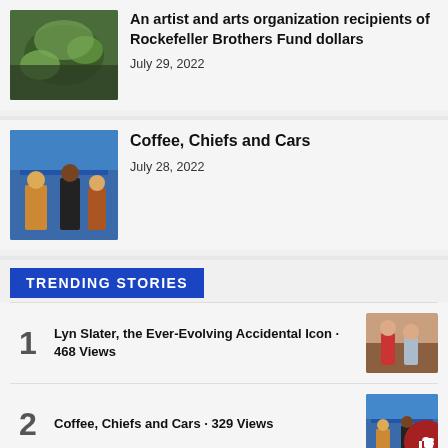[Figure (photo): Green mossy rock or plant close-up photograph]
An artist and arts organization recipients of Rockefeller Brothers Fund dollars
July 29, 2022
[Figure (photo): People at an outdoor event under a blue tent]
Coffee, Chiefs and Cars
July 28, 2022
TRENDING STORIES
Lyn Slater, the Ever-Evolving Accidental Icon · 468 Views
Coffee, Chiefs and Cars · 329 Views